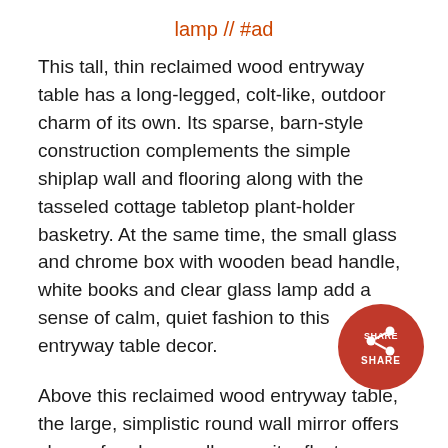lamp // #ad
This tall, thin reclaimed wood entryway table has a long-legged, colt-like, outdoor charm of its own. Its sparse, barn-style construction complements the simple shiplap wall and flooring along with the tasseled cottage tabletop plant-holder basketry. At the same time, the small glass and chrome box with wooden bead handle, white books and clear glass lamp add a sense of calm, quiet fashion to this entryway table decor.
Above this reclaimed wood entryway table, the large, simplistic round wall mirror offers classic farmhouse allure as it reflects a basic wrought iron hanging lantern-lamp in familiar barn design. For a slightly different visual effect, you might try...
[Figure (other): A circular red share button with a share icon and the text SHARE]